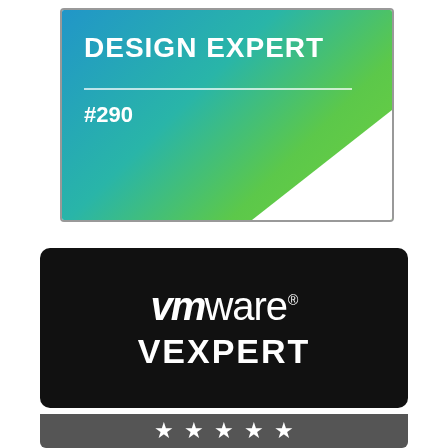[Figure (logo): VMware Design Expert badge with blue-to-green gradient background, white text 'DESIGN EXPERT', a horizontal line, and '#290' below. White triangle in bottom-right corner.]
[Figure (logo): VMware vExpert badge: black rounded rectangle with white 'vmware' logo (vm in bold italic, ware in light) with registered trademark symbol, and 'vEXPERT' text below.]
[Figure (logo): Dark grey bar with five white star icons, partial view at bottom of page.]